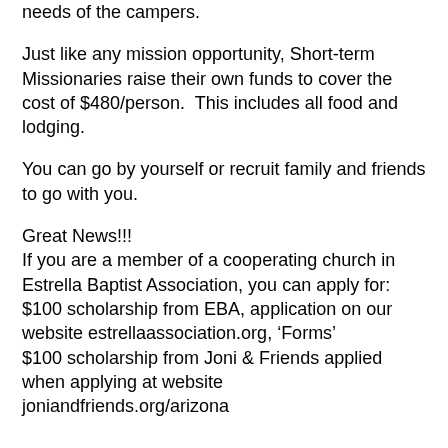needs of the campers.
Just like any mission opportunity, Short-term Missionaries raise their own funds to cover the cost of $480/person.  This includes all food and lodging.
You can go by yourself or recruit family and friends to go with you.
Great News!!!
If you are a member of a cooperating church in Estrella Baptist Association, you can apply for:
$100 scholarship from EBA, application on our website estrellaassociation.org, ‘Forms’
$100 scholarship from Joni & Friends applied when applying at website joniandfriends.org/arizona